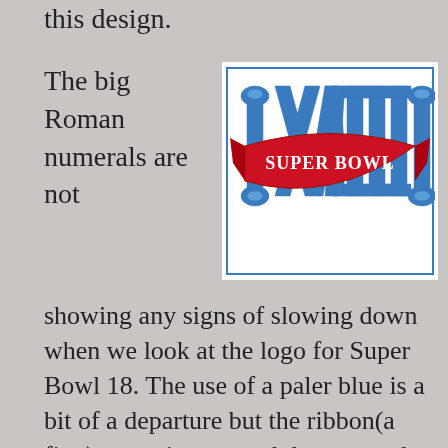this design.
The big Roman numerals are not
[Figure (logo): Super Bowl XVIII logo featuring large blue Roman numerals XVIII with a red ribbon banner reading SUPER BOWL wrapped around the numerals, decorative elements on the sides]
showing any signs of slowing down when we look at the logo for Super Bowl 18. The use of a paler blue is a bit of a departure but the ribbon(a first) wrapping around the numerals gives a nice bit of depth. I would've maybe liked to have seen some